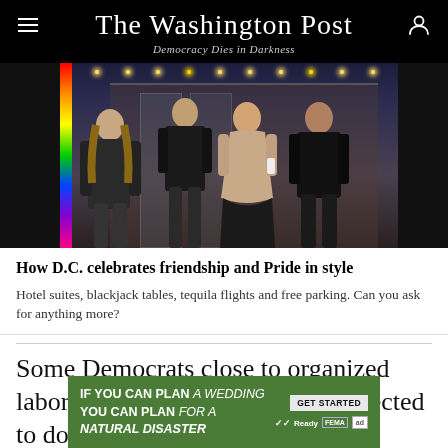The Washington Post
Democracy Dies in Darkness
[Figure (photo): Four people dressed in dark clothing standing in front of a venue entrance with string lights above and a rainbow stripe visible on the left. Nighttime event scene.]
How D.C. celebrates friendship and Pride in style
Hotel suites, blackjack tables, tequila flights and free parking. Can you ask for anything more?
Some Democrats close to organized labor say Biden can hardly be expected to do even more. “Rather than
[Figure (infographic): Green advertisement banner: IF YOU CAN PLAN A WEDDING YOU CAN PLAN FOR A NATURAL DISASTER. GET STARTED button. Ready, FEMA, and ad logos.]